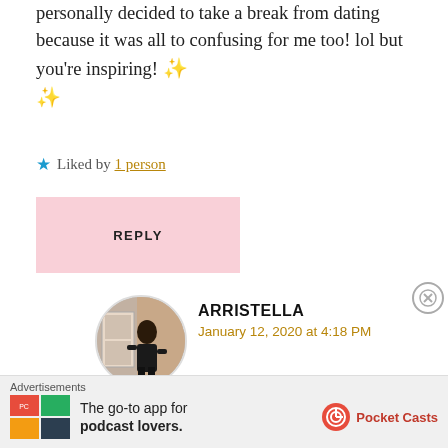personally decided to take a break from dating because it was all to confusing for me too! lol but you're inspiring! ✨ ✨
★ Liked by 1 person
REPLY
ARRISTELLA
January 12, 2020 at 4:18 PM
Thanks.
Dating is weird and not really something I try to do.
[Figure (other): Advertisement banner for Pocket Casts app with colorful logo and text 'The go-to app for podcast lovers.']